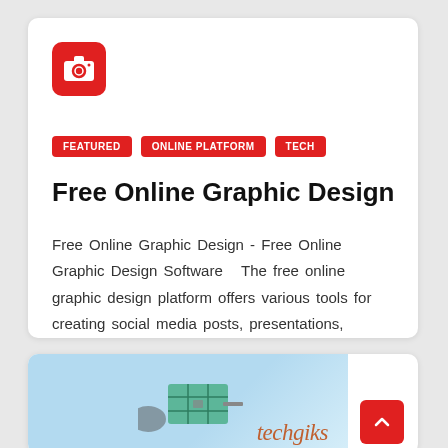[Figure (logo): Red rounded square icon with white camera symbol]
FEATURED
ONLINE PLATFORM
TECH
Free Online Graphic Design
Free Online Graphic Design  - Free Online Graphic Design Software   The free online graphic design platform offers various tools for creating social media posts, presentations,
[Figure (illustration): Partial card showing a blue sky background with a satellite/solar panel illustration and 'techgiks' text in cursive, with a red scroll-to-top button]